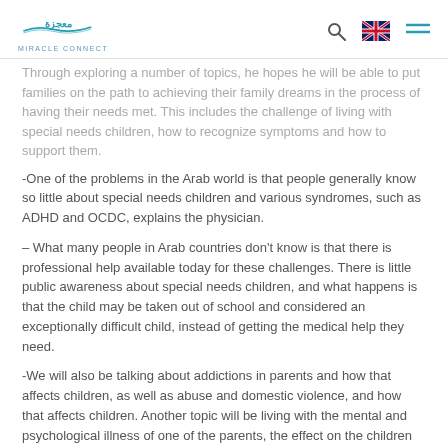Miracle Connect logo and navigation
Through exploring a number of topics, he hopes he will be able to put families on the path to achieving their family dreams in the process of having their needs met. This includes the challenge of living with special needs children, how to recognize symptoms and how to support them.
-One of the problems in the Arab world is that people generally know so little about special needs children and various syndromes, such as ADHD and OCDC, explains the physician.
– What many people in Arab countries don't know is that there is professional help available today for these challenges. There is little public awareness about special needs children, and what happens is that the child may be taken out of school and considered an exceptionally difficult child, instead of getting the medical help they need.
-We will also be talking about addictions in parents and how that affects children, as well as abuse and domestic violence, and how that affects children. Another topic will be living with the mental and psychological illness of one of the parents, the effect on the children and how to help them cope.